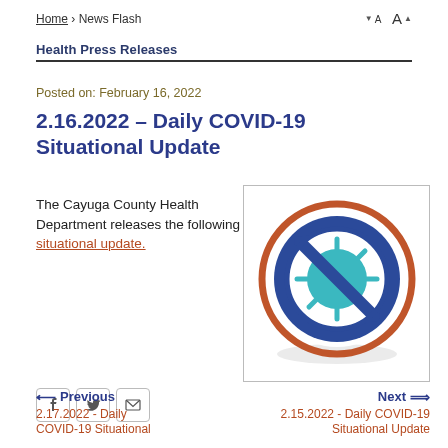Home › News Flash
Health Press Releases
Posted on: February 16, 2022
2.16.2022 – Daily COVID-19 Situational Update
The Cayuga County Health Department releases the following situational update.
[Figure (illustration): Anti-COVID icon: a circular badge with an orange outer ring, a blue inner circle, and a teal coronavirus particle with a blue diagonal slash through it, representing COVID-19 prevention.]
Previous
2.17.2022 - Daily COVID-19 Situational
Next
2.15.2022 - Daily COVID-19 Situational Update